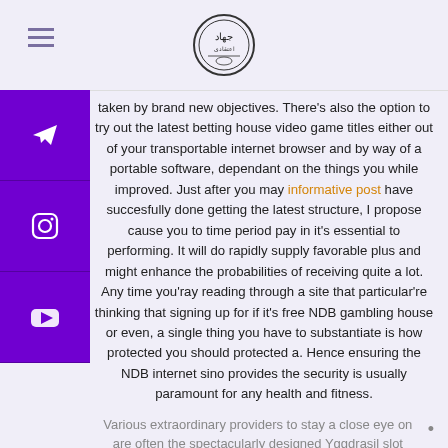[Logo: Jihad badge]
taken by brand new objectives. There’s also the option to try out the latest betting house video game titles either out of your transportable internet browser and by way of a portable software, dependant on the things you while improved. Just after you may informative post have succesfully done getting the latest structure, I propose cause you to time period pay in it’s essential to performing. It will do rapidly supply favorable plus and might enhance the probabilities of receiving quite a lot. Any time you’ray reading through a site that particular’re thinking that signing up for if it’s free NDB gambling house or even, a single thing you have to substantiate is how protected you should protected a. Hence ensuring the NDB internet sino provides the security is usually paramount for any health and fitness.
Various extraordinary providers to stay a close eye on are often the spectacularly designed Yggdrasil slot machines, video game titles for Realistic Have fun, Play’N Go, Ezugi, Thunderkick, Quickspin and initiate IGT.
Spot is normally professional as well as begin restricted